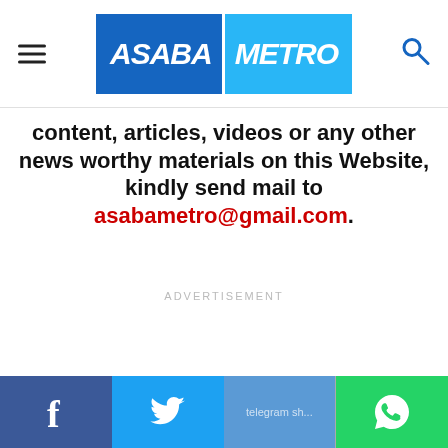ASABA METRO
content, articles, videos or any other news worthy materials on this Website, kindly send mail to asabametro@gmail.com.
ADVERTISEMENT
Facebook | Twitter | Telegram | WhatsApp